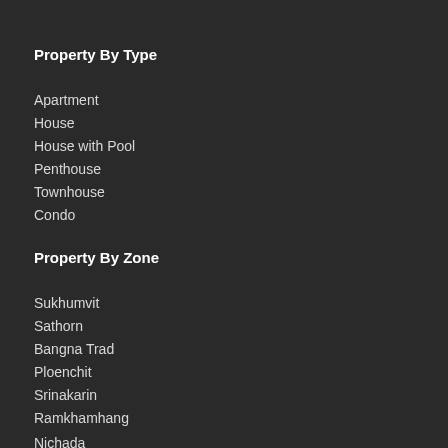Property By Type
Apartment
House
House with Pool
Penthouse
Townhouse
Condo
Property By Zone
Sukhumvit
Sathorn
Bangna Trad
Ploenchit
Srinakarin
Ramkhamhang
Nichada
Rama 9